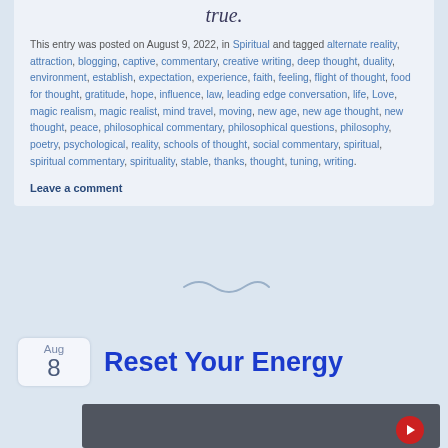true.
This entry was posted on August 9, 2022, in Spiritual and tagged alternate reality, attraction, blogging, captive, commentary, creative writing, deep thought, duality, environment, establish, expectation, experience, faith, feeling, flight of thought, food for thought, gratitude, hope, influence, law, leading edge conversation, life, Love, magic realism, magic realist, mind travel, moving, new age, new age thought, new thought, peace, philosophical commentary, philosophical questions, philosophy, poetry, psychological, reality, schools of thought, social commentary, spiritual, spiritual commentary, spirituality, stable, thanks, thought, tuning, writing.
Leave a comment
[Figure (illustration): Decorative tilde/swirl divider]
Aug 8
Reset Your Energy
[Figure (photo): Video thumbnail with dark background and red circular element at bottom right]